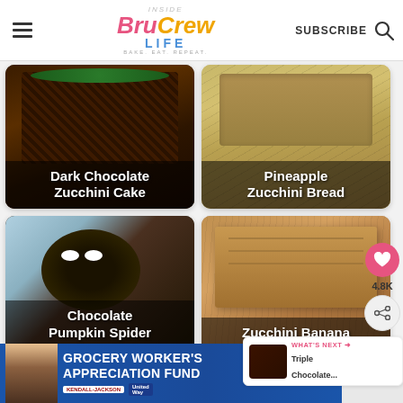Inside BruCrew LIFE | BAKE. EAT. REPEAT. | SUBSCRIBE
[Figure (photo): Dark Chocolate Zucchini Cake - dark chocolate frosted cake with green decorations]
Dark Chocolate Zucchini Cake
[Figure (photo): Pineapple Zucchini Bread - golden loaf on a cooling rack]
Pineapple Zucchini Bread
[Figure (photo): Chocolate Pumpkin Spider Donuts - chocolate donuts decorated as spiders]
Chocolate Pumpkin Spider Donuts
[Figure (photo): Zucchini Banana Bread Recipe - sliced banana bread loaf]
Zucchini Banana Bread Recipe
4.8K
WHAT'S NEXT → Triple Chocolate...
[Figure (infographic): Advertisement: Grocery Worker's Appreciation Fund with Kendall-Jackson and United Way logos]